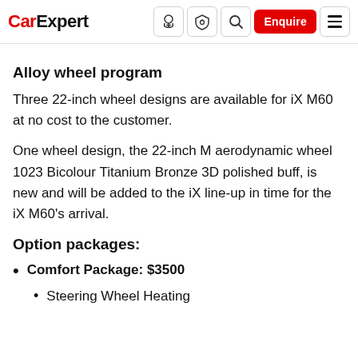CarExpert | Enquire
Alloy wheel program
Three 22-inch wheel designs are available for iX M60 at no cost to the customer.
One wheel design, the 22-inch M aerodynamic wheel 1023 Bicolour Titanium Bronze 3D polished buff, is new and will be added to the iX line-up in time for the iX M60's arrival.
Option packages:
Comfort Package: $3500
Steering Wheel Heating